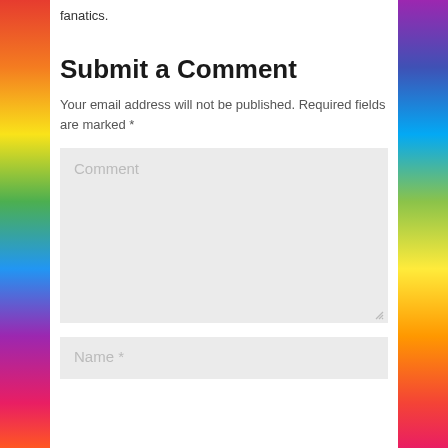fanatics.
Submit a Comment
Your email address will not be published. Required fields are marked *
Comment (textarea placeholder)
Name * (input placeholder)